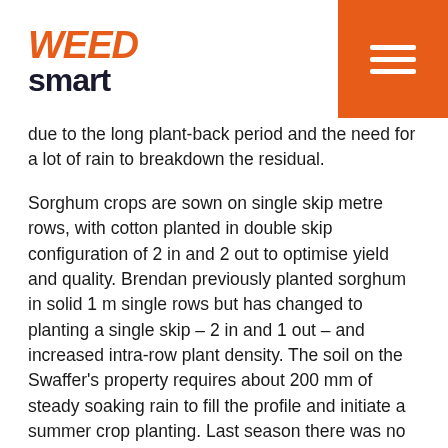WEED smart
due to the long plant-back period and the need for a lot of rain to breakdown the residual.
Sorghum crops are sown on single skip metre rows, with cotton planted in double skip configuration of 2 in and 2 out to optimise yield and quality. Brendan previously planted sorghum in solid 1 m single rows but has changed to planting a single skip – 2 in and 1 out – and increased intra-row plant density. The soil on the Swaffer's property requires about 200 mm of steady soaking rain to fill the profile and initiate a summer crop planting. Last season there was no summer crop planted due to a lack of soil moisture however the outlook year is looking more promising for sorghum but they have not planted cotton this season.
“We are concentrating on achieving even intra-row